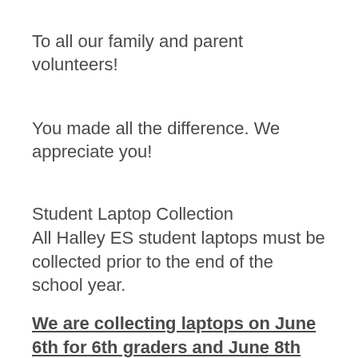To all our family and parent volunteers!
You made all the difference. We appreciate you!
Student Laptop Collection
All Halley ES student laptops must be collected prior to the end of the school year.
We are collecting laptops on June 6th for 6th graders and June 8th for K – 6.
Students will also need to bring back their